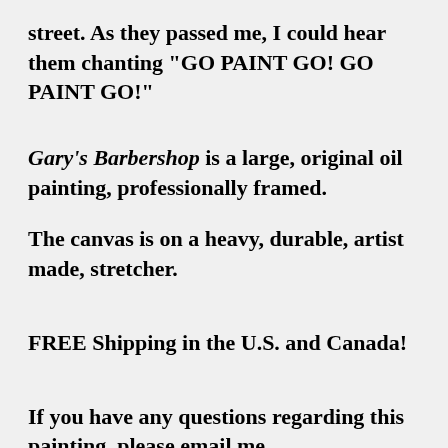street. As they passed me, I could hear them chanting "GO PAINT GO! GO PAINT GO!"
Gary's Barbershop is a large, original oil painting, professionally framed.
The canvas is on a heavy, durable, artist made, stretcher.
FREE Shipping in the U.S. and Canada!
If you have any questions regarding this painting, please email me, art@PhilFake.com